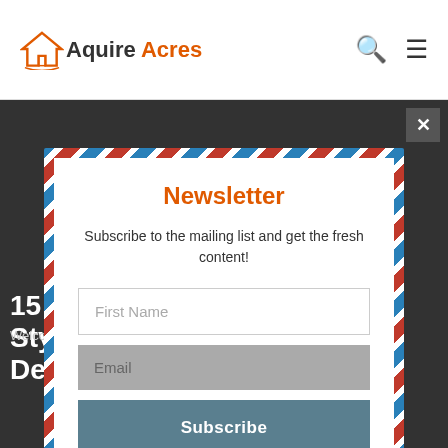Aquire Acres
Newsletter
Subscribe to the mailing list and get the fresh content!
First Name
Email
Welcome to Aquire Acres
15 Modern Indian Style Pooja Room Designs
Subscribe